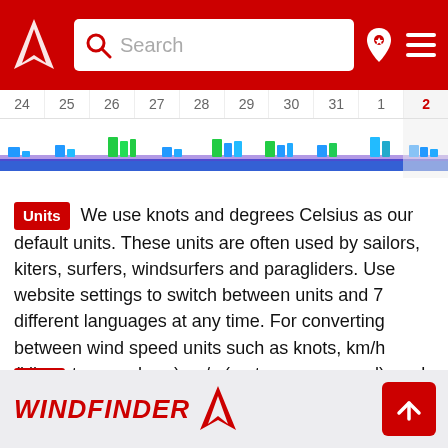Windfinder – Search bar with navigation icons
[Figure (infographic): Wind forecast calendar strip showing dates 24-31 and 1-2, with colored bar indicators (blue, green, teal) representing wind conditions for each day]
Units  We use knots and degrees Celsius as our default units. These units are often used by sailors, kiters, surfers, windsurfers and paragliders. Use website settings to switch between units and 7 different languages at any time. For converting between wind speed units such as knots, km/h (kilometers per hour), m/s (meters per second), and mph (miles per hour) use our wind speed calculator.
Help  If you need more information about our wind forecast for Castle of Mora, have a look at our help section.
WINDFINDER logo with scroll-to-top button